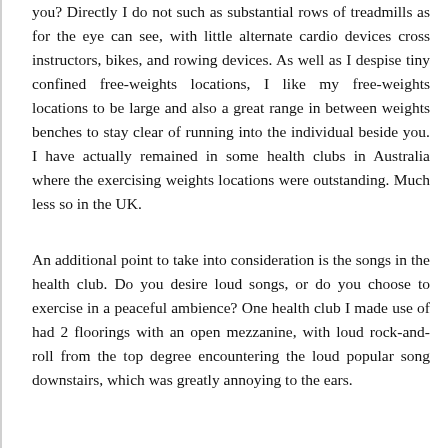you? Directly I do not such as substantial rows of treadmills as for the eye can see, with little alternate cardio devices cross instructors, bikes, and rowing devices. As well as I despise tiny confined free-weights locations, I like my free-weights locations to be large and also a great range in between weights benches to stay clear of running into the individual beside you. I have actually remained in some health clubs in Australia where the exercising weights locations were outstanding. Much less so in the UK.
An additional point to take into consideration is the songs in the health club. Do you desire loud songs, or do you choose to exercise in a peaceful ambience? One health club I made use of had 2 floorings with an open mezzanine, with loud rock-and-roll from the top degree encountering the loud popular song downstairs, which was greatly annoying to the ears.